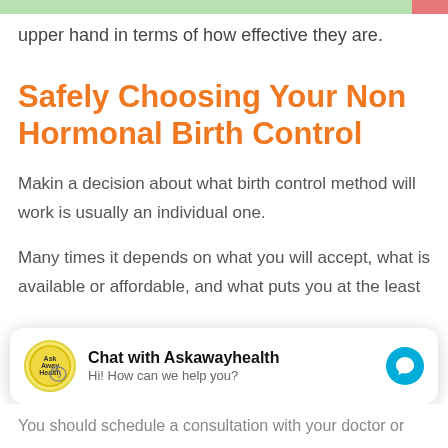upper hand in terms of how effective they are.
Safely Choosing Your Non Hormonal Birth Control
Makin a decision about what birth control method will work is usually an individual one.
Many times it depends on what you will accept, what is available or affordable, and what puts you at the least
Chat with Askawayhealth
Hi! How can we help you?
You should schedule a consultation with your doctor or